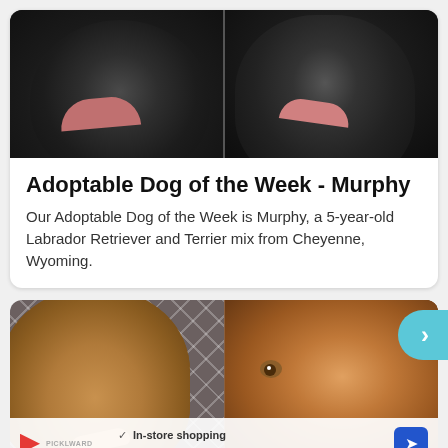[Figure (photo): Two black fluffy dogs side by side, both with mouths open, shown from chest up]
Adoptable Dog of the Week - Murphy
Our Adoptable Dog of the Week is Murphy, a 5-year-old Labrador Retriever and Terrier mix from Cheyenne, Wyoming.
[Figure (photo): Two brown/tan dogs side by side — left dog is a happy smiling mixed breed, right dog is a close-up portrait of a reddish-brown pit bull type dog]
In-store shopping
Curbside pickup · Delivery